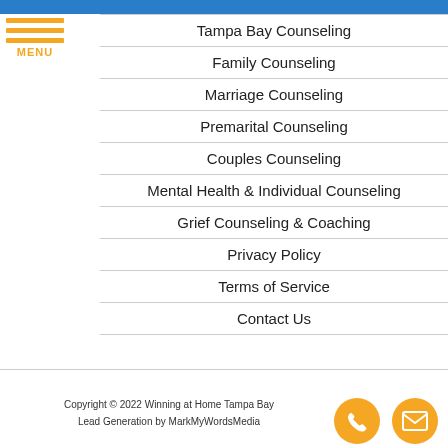Tampa Bay Counseling
Family Counseling
Marriage Counseling
Premarital Counseling
Couples Counseling
Mental Health & Individual Counseling
Grief Counseling & Coaching
Privacy Policy
Terms of Service
Contact Us
Copyright © 2022 Winning at Home Tampa Bay
Lead Generation by MarkMyWordsMedia